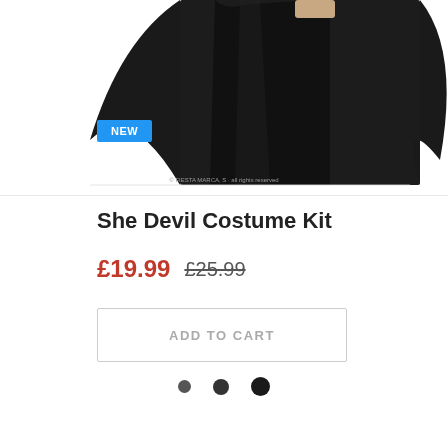[Figure (photo): Product photo of She Devil Costume Kit showing a dark cape and black outfit on a model, with a blue NEW badge overlay]
She Devil Costume Kit
£19.99  £25.99
ADD TO CART